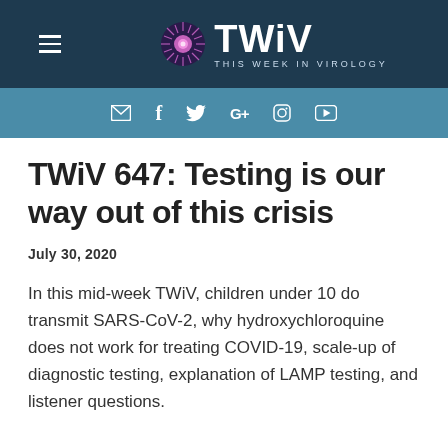[Figure (logo): TWiV - This Week in Virology logo with starburst graphic, on dark navy background with hamburger menu icon]
Social media icons: email, facebook, twitter, google+, instagram, youtube
TWiV 647: Testing is our way out of this crisis
July 30, 2020
In this mid-week TWiV, children under 10 do transmit SARS-CoV-2, why hydroxychloroquine does not work for treating COVID-19, scale-up of diagnostic testing, explanation of LAMP testing, and listener questions.